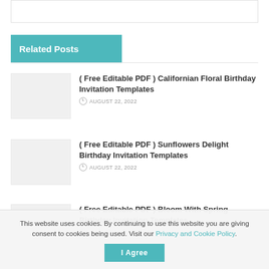Related Posts
( Free Editable PDF ) Californian Floral Birthday Invitation Templates
AUGUST 22, 2022
( Free Editable PDF ) Sunflowers Delight Birthday Invitation Templates
AUGUST 22, 2022
( Free Editable PDF ) Bloom With Spring Birthday Invitation Templates
AUGUST 22, 2022
This website uses cookies. By continuing to use this website you are giving consent to cookies being used. Visit our Privacy and Cookie Policy.